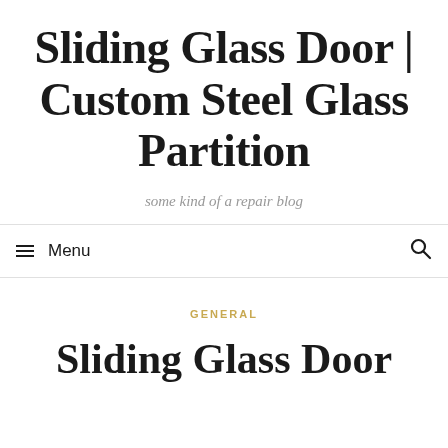Sliding Glass Door | Custom Steel Glass Partition
some kind of a repair blog
Menu
GENERAL
Sliding Glass Door